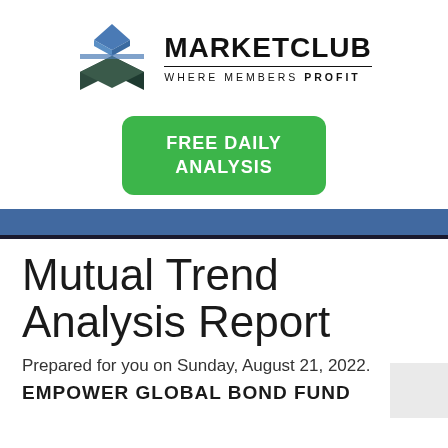[Figure (logo): MarketClub logo: geometric cube/box shape in dark teal/green with blue triangular top facet, alongside bold text MARKETCLUB and tagline WHERE MEMBERS PROFIT]
[Figure (infographic): Green rounded rectangle button with white bold text FREE DAILY ANALYSIS]
Mutual Trend Analysis Report
Prepared for you on Sunday, August 21, 2022.
EMPOWER GLOBAL BOND FUND